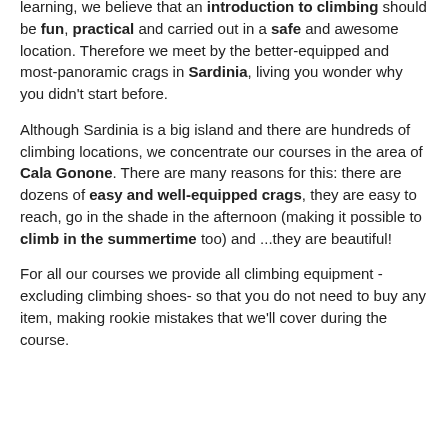...already on the rock. Since that mindfulness learning, we believe that an introduction to climbing should be fun, practical and carried out in a safe and awesome location. Therefore we meet by the better-equipped and most-panoramic crags in Sardinia, living you wonder why you didn't start before.
Although Sardinia is a big island and there are hundreds of climbing locations, we concentrate our courses in the area of Cala Gonone. There are many reasons for this: there are dozens of easy and well-equipped crags, they are easy to reach, go in the shade in the afternoon (making it possible to climb in the summertime too) and ...they are beautiful!
For all our courses we provide all climbing equipment - excluding climbing shoes- so that you do not need to buy any item, making rookie mistakes that we'll cover during the course.